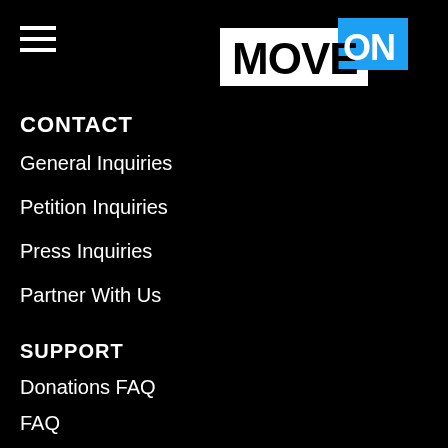[Figure (logo): Hamburger menu icon (three horizontal white lines) in top-left corner]
[Figure (logo): MoveOn logo: white text MOVE with blue rectangle containing white text ON]
CONTACT
General Inquiries
Petition Inquiries
Press Inquiries
Partner With Us
SUPPORT
Donations FAQ
FAQ
Privacy Policy & ToS
Accessibility